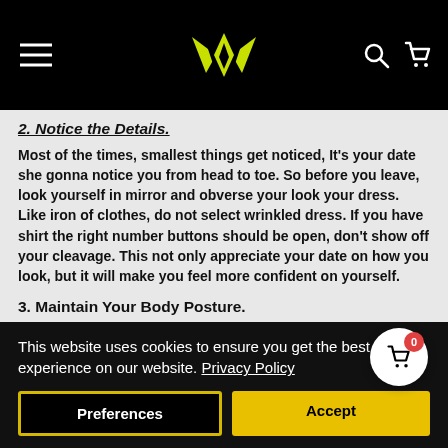Navigation header with logo and icons
2. Notice the Details.
Most of the times, smallest things get noticed, It's your date she gonna notice you from head to toe. So before you leave, look yourself in mirror and obverse your look your dress. Like iron of clothes, do not select wrinkled dress. If you have shirt the right number buttons should be open, don't show off your cleavage. This not only appreciate your date on how you look, but it will make you feel more confident on yourself.
3. Maintain Your Body Posture.
This website uses cookies to ensure you get the best experience on our website. Privacy Policy
Preferences
Accept